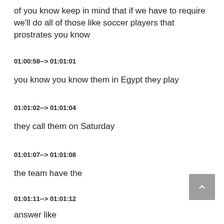of you know keep in mind that if we have to require we'll do all of those like soccer players that prostrates you know
01:00:58--> 01:01:01
you know you know them in Egypt they play
01:01:02--> 01:01:04
they call them on Saturday
01:01:07--> 01:01:08
the team have the
01:01:11--> 01:01:12
answer like
01:01:13--> 01:01:15